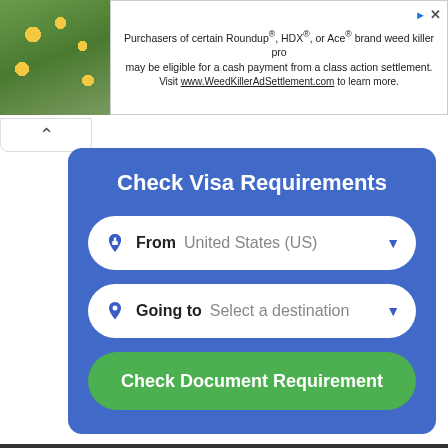[Figure (screenshot): Ad banner with nature photo and weed killer class action settlement text]
Purchasers of certain Roundup®, HDX®, or Ace® brand weed killer pro may be eligible for a cash payment from a class action settlement. Visit www.WeedKillerAdSettlement.com to learn more.
Check Visa Requirements
From  United States (US)
Going to  Select a destination
Check Document Requirement